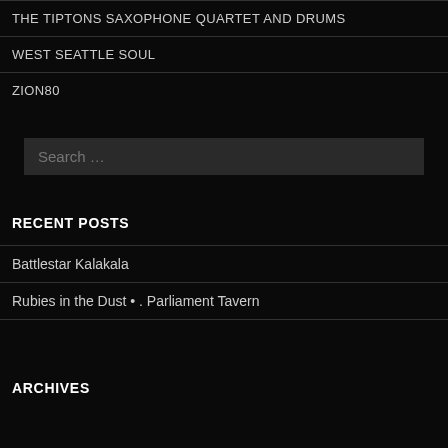THE TIPTONS SAXOPHONE QUARTET AND DRUMS
WEST SEATTLE SOUL
ZION80
Search …
RECENT POSTS
Battlestar Kalakala
Rubies in the Dust • . Parliament Tavern
ARCHIVES